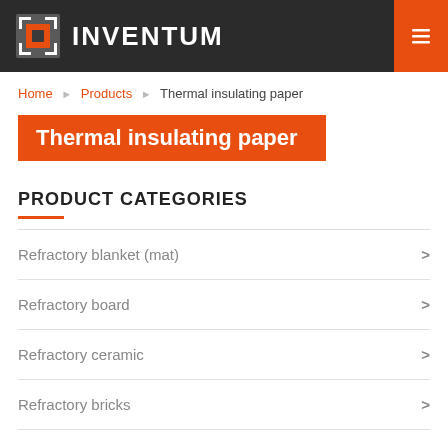INVENTUM
Home › Products › Thermal insulating paper
Thermal insulating paper
PRODUCT CATEGORIES
Refractory blanket (mat)
Refractory board
Refractory ceramic
Refractory bricks